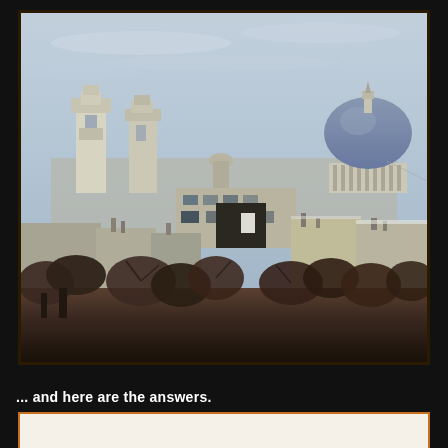[Figure (photo): Aerial/elevated view of Paris rooftops on an overcast winter day. Visible are the Panthéon dome (large blue-grey dome with colonnades on the right), two baroque church towers on the left (likely Saint-Sulpice), Haussmann-era buildings, chimneys, and bare winter trees in the foreground. The sky is cloudy and grey-blue.]
... and here are the answers.